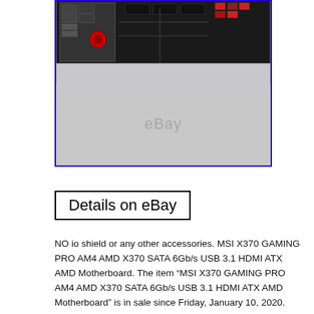[Figure (photo): Photo of MSI X370 motherboard I/O panel area, shown on a light gray background, with a blue border around the image and an eBay watermark.]
Details on eBay
NO io shield or any other accessories. MSI X370 GAMING PRO AM4 AMD X370 SATA 6Gb/s USB 3.1 HDMI ATX AMD Motherboard. The item “MSI X370 GAMING PRO AM4 AMD X370 SATA 6Gb/s USB 3.1 HDMI ATX AMD Motherboard” is in sale since Friday, January 10, 2020. This item is in the category “Computers/Tablets & Networking\Computer Components & Parts\Motherboards”. The seller is “marchyuker” and is located in Beaverton. This item can be shipped to United States, Canada, Japan, France, Denmark, Romania,